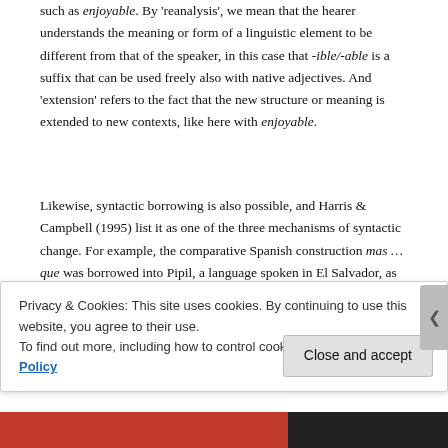such as enjoyable. By 'reanalysis', we mean that the hearer understands the meaning or form of a linguistic element to be different from that of the speaker, in this case that -ible/-able is a suffix that can be used freely also with native adjectives. And 'extension' refers to the fact that the new structure or meaning is extended to new contexts, like here with enjoyable.
Likewise, syntactic borrowing is also possible, and Harris & Campbell (1995) list it as one of the three mechanisms of syntactic change. For example, the comparative Spanish construction mas … que was borrowed into Pipil, a language spoken in El Salvador, as mas … ke. Unlike the effects of language contact we witnessed in the phonological and morphological components above,
Privacy & Cookies: This site uses cookies. By continuing to use this website, you agree to their use.
To find out more, including how to control cookies, see here: Cookie Policy